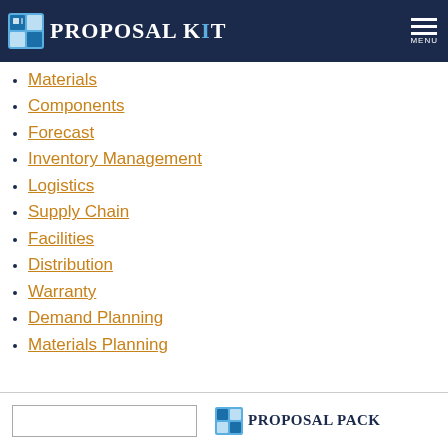Proposal Kit
Materials
Components
Forecast
Inventory Management
Logistics
Supply Chain
Facilities
Distribution
Warranty
Demand Planning
Materials Planning
Proposal Pack